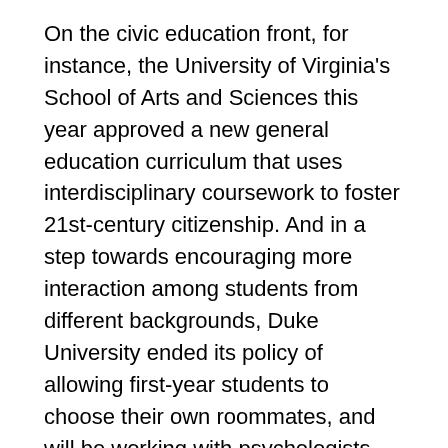On the civic education front, for instance, the University of Virginia's School of Arts and Sciences this year approved a new general education curriculum that uses interdisciplinary coursework to foster 21st-century citizenship. And in a step towards encouraging more interaction among students from different backgrounds, Duke University ended its policy of allowing first-year students to choose their own roommates, and will be working with psychologists and other researchers to track this new policy's effect on students.
Of course, in order to develop meaningful and lasting solutions to these issues, institutions must draw insights and experience from every facet of the university. Our law schools, in particular, must play a critical role in this process, because not only have you